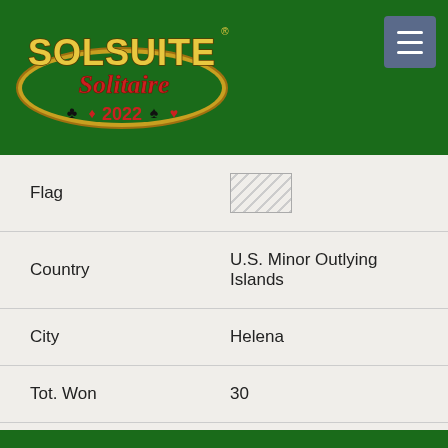[Figure (logo): SolSuite Solitaire 2022 logo with card suit symbols on dark green background]
| Field | Value |
| --- | --- |
| Flag | (flag image placeholder) |
| Country | U.S. Minor Outlying Islands |
| City | Helena |
| Tot. Won | 30 |
| Ver. | 7.8 |
| Date | 27 Aug 07 |